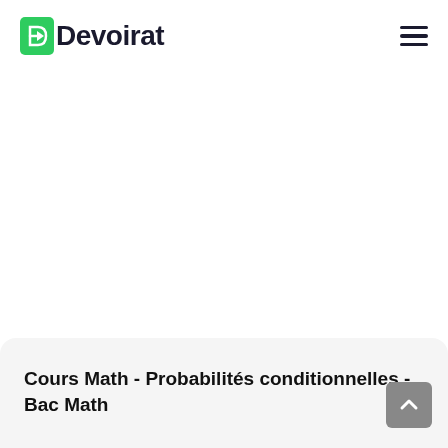Devoirat
Cours Math - Probabilités conditionnelles - Bac Math